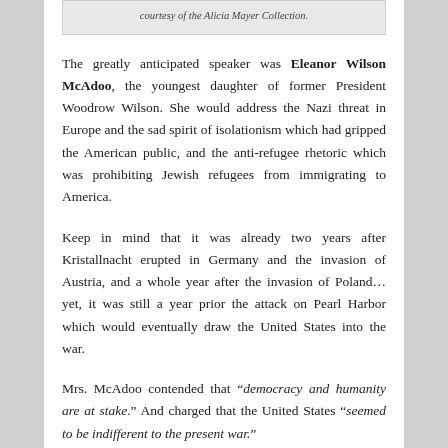courtesy of the Alicia Mayer Collection.
The greatly anticipated speaker was Eleanor Wilson McAdoo, the youngest daughter of former President Woodrow Wilson. She would address the Nazi threat in Europe and the sad spirit of isolationism which had gripped the American public, and the anti-refugee rhetoric which was prohibiting Jewish refugees from immigrating to America.
Keep in mind that it was already two years after Kristallnacht erupted in Germany and the invasion of Austria, and a whole year after the invasion of Poland… yet, it was still a year prior the attack on Pearl Harbor which would eventually draw the United States into the war.
Mrs. McAdoo contended that “democracy and humanity are at stake.” And charged that the United States “seemed to be indifferent to the present war.”